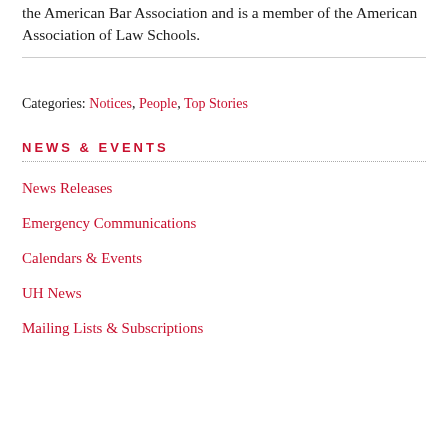the American Bar Association and is a member of the American Association of Law Schools.
Categories: Notices, People, Top Stories
NEWS & EVENTS
News Releases
Emergency Communications
Calendars & Events
UH News
Mailing Lists & Subscriptions